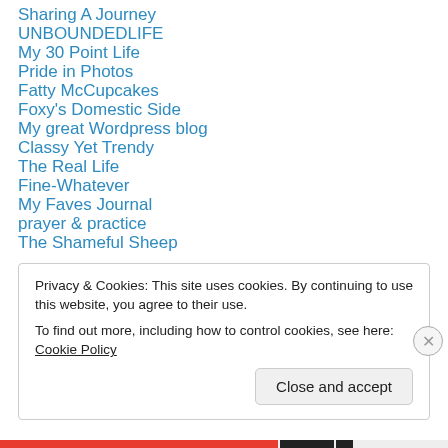Sharing A Journey
UNBOUNDEDLIFE
My 30 Point Life
Pride in Photos
Fatty McCupcakes
Foxy's Domestic Side
My great Wordpress blog
Classy Yet Trendy
The Real Life
Fine-Whatever
My Faves Journal
prayer & practice
The Shameful Sheep
Privacy & Cookies: This site uses cookies. By continuing to use this website, you agree to their use. To find out more, including how to control cookies, see here: Cookie Policy